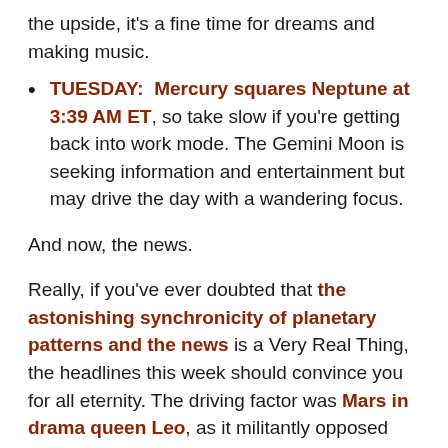the upside, it's a fine time for dreams and making music.
TUESDAY: Mercury squares Neptune at 3:39 AM ET, so take slow if you're getting back into work mode. The Gemini Moon is seeking information and entertainment but may drive the day with a wandering focus.
And now, the news.
Really, if you've ever doubted that the astonishing synchronicity of planetary patterns and the news is a Very Real Thing, the headlines this week should convince you for all eternity. The driving factor was Mars in drama queen Leo, as it militantly opposed controlling Saturn